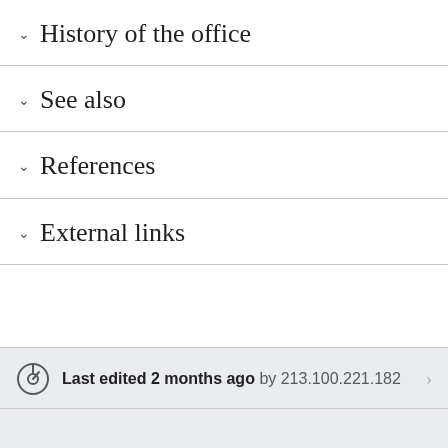History of the office
See also
References
External links
Last edited 2 months ago by 213.100.221.182